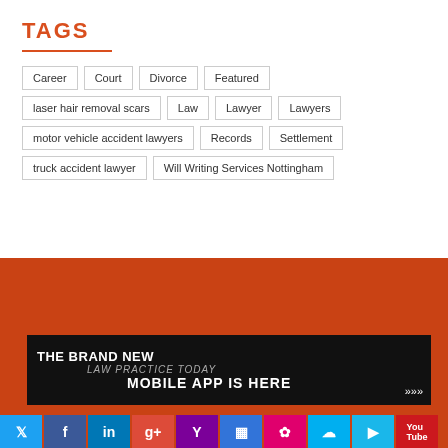TAGS
Career
Court
Divorce
Featured
laser hair removal scars
Law
Lawyer
Lawyers
motor vehicle accident lawyers
Records
Settlement
truck accident lawyer
Will Writing Services Nottingham
[Figure (infographic): Banner advertisement for 'The Brand New Law Practice Today Mobile App Is Here' on dark background with hand holding device]
[Figure (infographic): Row of social media icons: Twitter, Facebook, LinkedIn, Google+, Yahoo, Delicious, Flickr, Skype, Vimeo, YouTube]